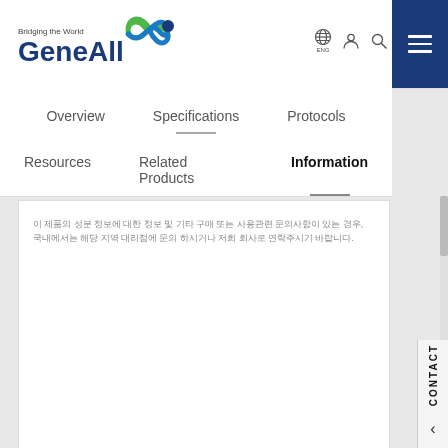[Figure (logo): GeneAll logo with infinity symbol and tagline 'Bridging the World']
Overview | Specifications | Protocols | Resources | Related Products | Information
이 제품의 성분 정보에 대한 정보 및 기타 구매 또는 사용관련 문의사항이 있는 경우, 국내에서는 해당 지역 대리점에 문의 하시거나 저희 회사로 연락주시기 바랍니다.